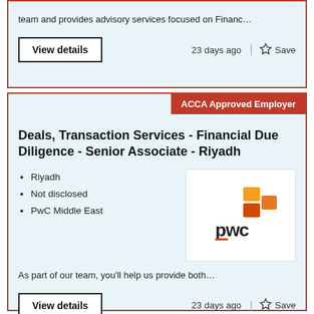team and provides advisory services focused on Financ…
View details
23 days ago
Save
ACCA Approved Employer
Deals, Transaction Services - Financial Due Diligence - Senior Associate - Riyadh
Riyadh
Not disclosed
PwC Middle East
[Figure (logo): PwC company logo with orange/red stacked blocks and 'pwc' text in dark grey]
As part of our team, you'll help us provide both…
View details
23 days ago
Save